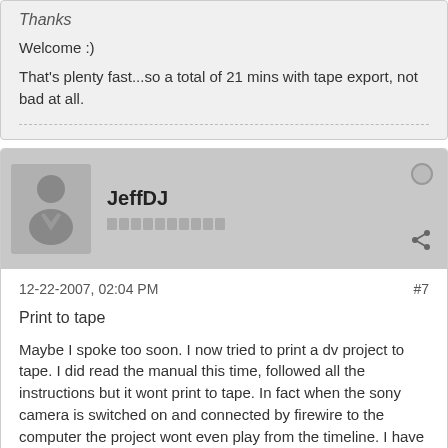Thanks
Welcome :)
That's plenty fast...so a total of 21 mins with tape export, not bad at all.
JeffDJ
12-22-2007, 02:04 PM
#7
Print to tape
Maybe I spoke too soon. I now tried to print a dv project to tape. I did read the manual this time, followed all the instructions but it wont print to tape. In fact when the sony camera is switched on and connected by firewire to the computer the project wont even play from the timeline. I have to switch off the camera to play the timeline without it stopping. This situation happens no matter which sony camera I use.
If I enter the print to tape from the File, print to tape menu a